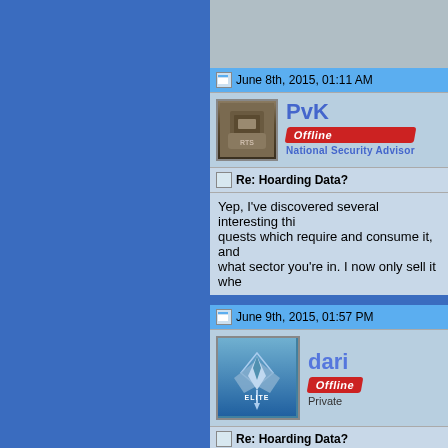June 8th, 2015, 01:11 AM
PvK  Offline  National Security Advisor
Re: Hoarding Data?
Yep, I've discovered several interesting thi... quests which require and consume it, and ... what sector you're in. I now only sell it whe...
June 9th, 2015, 01:57 PM
dari  Offline  Private
Re: Hoarding Data?
yep i got a cursed artifact (and not a bug -
btw in my game it seems that i get the bes... and not even always...
also the tentaculons pay the most for artifa... even cursed ones!